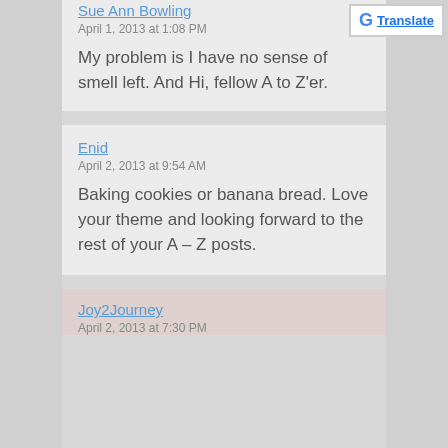Sue Ann Bowling
April 1, 2013 at 1:08 PM
My problem is I have no sense of smell left. And Hi, fellow A to Z'er.
Enid
April 2, 2013 at 9:54 AM
Baking cookies or banana bread. Love your theme and looking forward to the rest of your A – Z posts.
Joy2Journey
April 2, 2013 at 7:30 PM